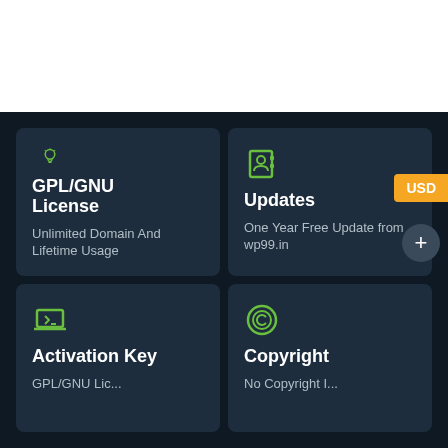[Figure (screenshot): White top section of a webpage]
[Figure (infographic): Dark background feature grid with four cards: GPL/GNU License (Unlimited Domain And Lifetime Usage), Updates (One Year Free Update from wp99.in), Activation Key, Copyright. An orange USD badge and a plus button are visible on the right side.]
GPL/GNU License
Unlimited Domain And Lifetime Usage
Updates
One Year Free Update from wp99.in
Activation Key
Copyright
USD